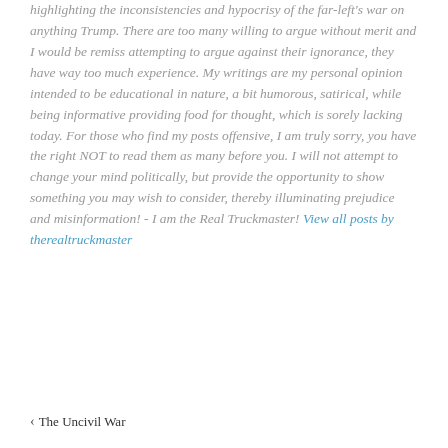highlighting the inconsistencies and hypocrisy of the far-left's war on anything Trump. There are too many willing to argue without merit and I would be remiss attempting to argue against their ignorance, they have way too much experience. My writings are my personal opinion intended to be educational in nature, a bit humorous, satirical, while being informative providing food for thought, which is sorely lacking today. For those who find my posts offensive, I am truly sorry, you have the right NOT to read them as many before you. I will not attempt to change your mind politically, but provide the opportunity to show something you may wish to consider, thereby illuminating prejudice and misinformation! - I am the Real Truckmaster! View all posts by therealtruckmaster
< The Uncivil War